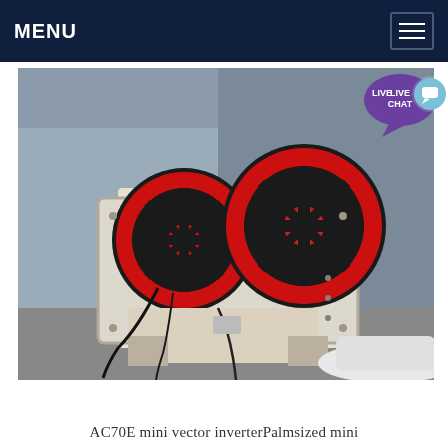MENU
[Figure (photo): Industrial jaw crusher machine with two large red and black flywheel pulleys mounted on a white metal frame, photographed outdoors in a yard or warehouse setting.]
VEICHI AC70E Portable Mini Inve...
AC70E mini vector inverterPalmsized mini